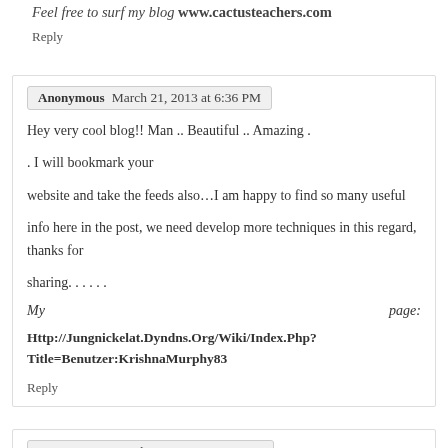Feel free to surf my blog www.cactusteachers.com
Reply
Anonymous  March 21, 2013 at 6:36 PM
Hey very cool blog!! Man .. Beautiful .. Amazing .
. I will bookmark your
website and take the feeds also…I am happy to find so many useful
info here in the post, we need develop more techniques in this regard, thanks for
sharing. . . . . .
My page: Http://Jungnickelat.Dyndns.Org/Wiki/Index.Php?Title=Benutzer:KrishnaMurphy83
Reply
Anonymous  March 24, 2013 at 6:59 AM
This site is mostly a stroll-